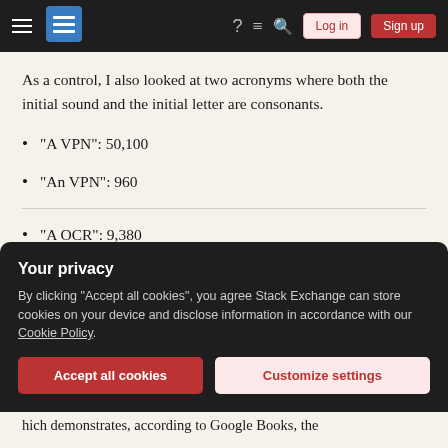Stack Exchange navigation bar with Log in and Sign up buttons
As a control, I also looked at two acronyms where both the initial sound and the initial letter are consonants.
"A VPN": 50,100
"An VPN": 960
"A OCR": 9,380
"An OCR": 1,870,000
Because "An VPN" and "A OCR" are incorrect based on
Your privacy
By clicking "Accept all cookies", you agree Stack Exchange can store cookies on your device and disclose information in accordance with our Cookie Policy.
Accept all cookies  Customize settings
hich demonstrates, according to Google Books, the